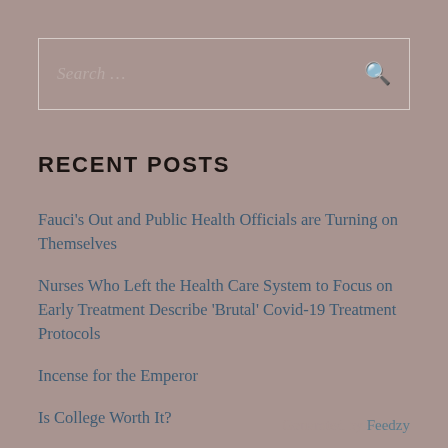[Figure (other): Search input box with placeholder text 'Search ...' and a magnifying glass icon on the right]
RECENT POSTS
Fauci's Out and Public Health Officials are Turning on Themselves
Nurses Who Left the Health Care System to Focus on Early Treatment Describe 'Brutal' Covid-19 Treatment Protocols
Incense for the Emperor
Is College Worth It?
More Billions to Ukraine as America Falls Apart
Generated by Feedzy